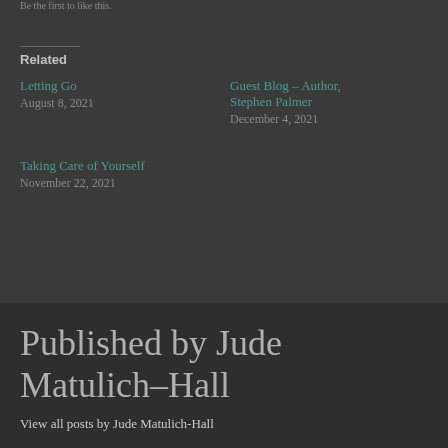Be the first to like this.
Related
Letting Go
August 8, 2021
Guest Blog – Author, Stephen Palmer
December 4, 2021
Taking Care of Yourself
November 22, 2021
Published by Jude Matulich-Hall
View all posts by Jude Matulich-Hall